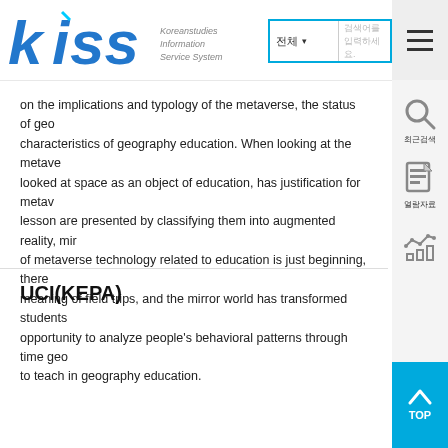[Figure (logo): KISS - Koreanstudies Information Service System logo with stylized blue italic lettering and search bar]
on the implications and typology of the metaverse, the status of geography characteristics of geography education. When looking at the metaverse, looked at space as an object of education, has justification for metaverse lesson are presented by classifying them into augmented reality, mirror of metaverse technology related to education is just beginning, there meaning of field trips, and the mirror world has transformed students opportunity to analyze people's behavioral patterns through time geo to teach in geography education.
UCI(KEPA)